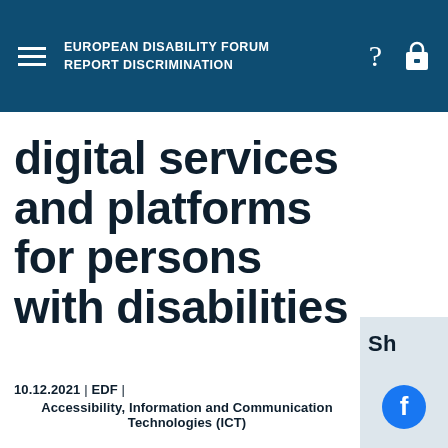EUROPEAN DISABILITY FORUM REPORT DISCRIMINATION
digital services and platforms for persons with disabilities
10.12.2021 | EDF | Accessibility, Information and Communication Technologies (ICT)